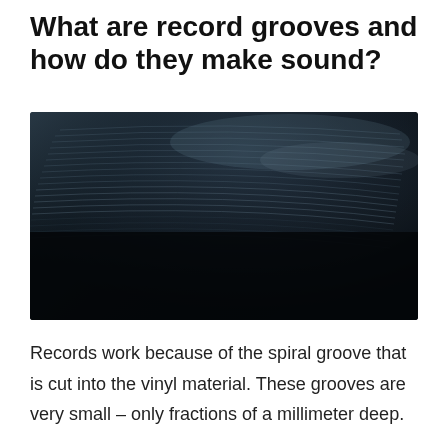What are record grooves and how do they make sound?
[Figure (photo): Close-up macro photograph of a vinyl record showing dark grooves. The upper portion reveals fine spiral groove lines catching light, while the lower portion is very dark/black. Shot at an angle showing the grooved surface texture in detail.]
Records work because of the spiral groove that is cut into the vinyl material. These grooves are very small – only fractions of a millimeter deep.